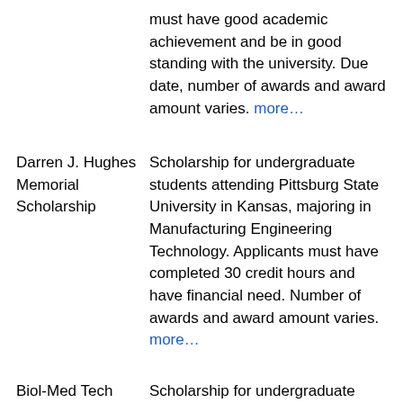must have good academic achievement and be in good standing with the university. Due date, number of awards and award amount varies. more...
Darren J. Hughes Memorial Scholarship
Scholarship for undergraduate students attending Pittsburg State University in Kansas, majoring in Manufacturing Engineering Technology. Applicants must have completed 30 credit hours and have financial need. Number of awards and award amount varies. more...
Biol-Med Tech Scholarship
Scholarship for undergraduate students attending Pittsburg State